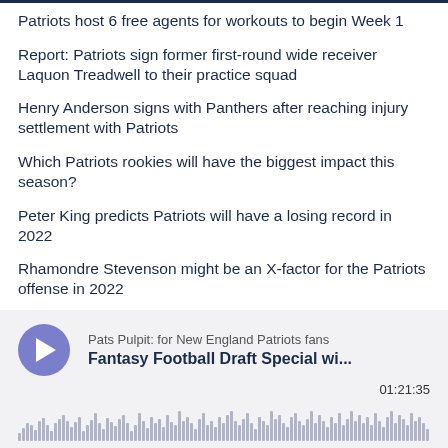Patriots host 6 free agents for workouts to begin Week 1
Report: Patriots sign former first-round wide receiver Laquon Treadwell to their practice squad
Henry Anderson signs with Panthers after reaching injury settlement with Patriots
Which Patriots rookies will have the biggest impact this season?
Peter King predicts Patriots will have a losing record in 2022
Rhamondre Stevenson might be an X-factor for the Patriots offense in 2022
[Figure (other): Audio player widget for podcast 'Pats Pulpit: for New England Patriots fans' — episode 'Fantasy Football Draft Special wi...' with timestamp 01:21:35 and a waveform scrubber bar]